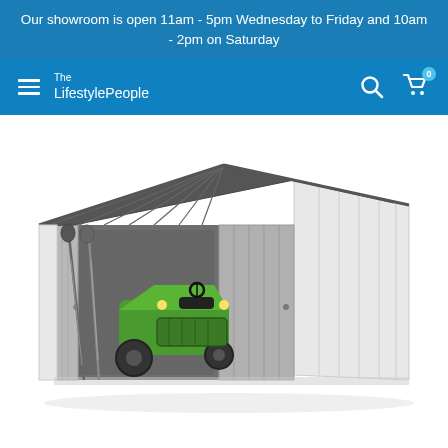Our showroom is open 11am - 5pm Wednesday to Friday and 10am - 2pm on Saturday
[Figure (logo): The LifestylePeople logo with hamburger menu icon on the left and search and cart icons on the right, all on a blue navigation bar]
[Figure (photo): A large metal garden shed with dark grey corrugated roof panels and light grey walls, open sliding doors revealing a green ride-on lawn mower inside, with garden tools (spades/shovels) leaning against the left side, photographed on white background]